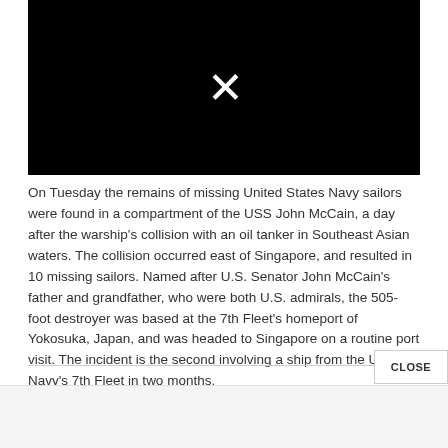[Figure (other): Black video player placeholder with a white X icon in the center]
On Tuesday the remains of missing United States Navy sailors were found in a compartment of the USS John McCain, a day after the warship's collision with an oil tanker in Southeast Asian waters. The collision occurred east of Singapore, and resulted in 10 missing sailors. Named after U.S. Senator John McCain's father and grandfather, who were both U.S. admirals, the 505-foot destroyer was based at the 7th Fleet's homeport of Yokosuka, Japan, and was headed to Singapore on a routine port visit. The incident is the second involving a ship from the U.S. Navy's 7th Fleet in two months.
CLOSE
ADVERTISEMENT